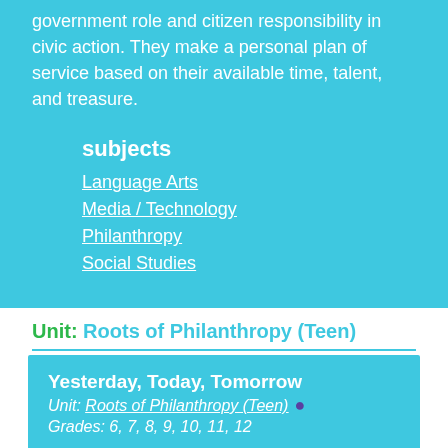government role and citizen responsibility in civic action. They make a personal plan of service based on their available time, talent, and treasure.
subjects
Language Arts
Media / Technology
Philanthropy
Social Studies
Unit: Roots of Philanthropy (Teen)
Yesterday, Today, Tomorrow
Unit: Roots of Philanthropy (Teen) •
Grades: 6, 7, 8, 9, 10, 11, 12
Youth Activity: Students read about the philanthropy